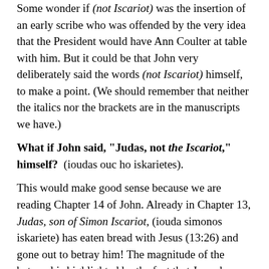Some wonder if (not Iscariot) was the insertion of an early scribe who was offended by the very idea that the President would have Ann Coulter at table with him. But it could be that John very deliberately said the words (not Iscariot) himself, to make a point. (We should remember that neither the italics nor the brackets are in the manuscripts we have.)
What if John said, "Judas, not the Iscariot," himself?  (ioudas ouc ho iskarietes).
This would make good sense because we are reading Chapter 14 of John. Already in Chapter 13, Judas, son of Simon Iscariot, (iouda simonos iskariete) has eaten bread with Jesus (13:26) and gone out to betray him! The magnitude of the betrayal is highlighted by the fact that Jesus has just given him the Communion bread.
But this all makes Judas a little difficult to identify. Where did this second Judas suddenly come from?